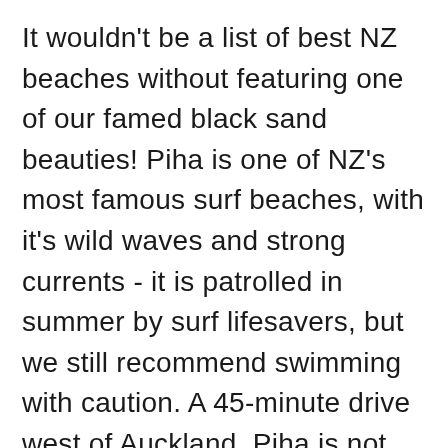It wouldn't be a list of best NZ beaches without featuring one of our famed black sand beauties! Piha is one of NZ's most famous surf beaches, with it's wild waves and strong currents - it is patrolled in summer by surf lifesavers, but we still recommend swimming with caution. A 45-minute drive west of Auckland, Piha is not only great for lazing on the beach, but also exploring the amazing surrounding landscape. You can get some amazing views from Tasman Lookout, a short 1km walk from the beach, or you can climb the famed Lion Rock (Te Piha). Lion Rock is sacred to Te Kawerau a Maki people so please be